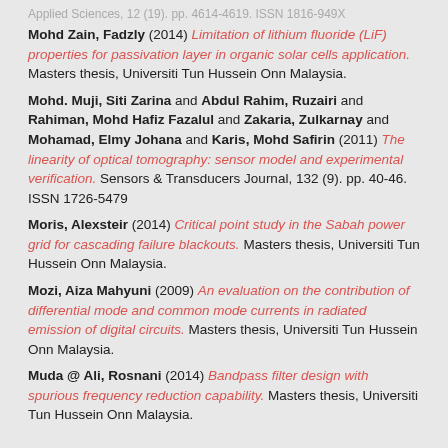Applied Sciences, 12 (19). pp. 4614-4619. ISSN 1816-949X
Mohd Zain, Fadzly (2014) Limitation of lithium fluoride (LiF) properties for passivation layer in organic solar cells application. Masters thesis, Universiti Tun Hussein Onn Malaysia.
Mohd. Muji, Siti Zarina and Abdul Rahim, Ruzairi and Rahiman, Mohd Hafiz Fazalul and Zakaria, Zulkarnay and Mohamad, Elmy Johana and Karis, Mohd Safirin (2011) The linearity of optical tomography: sensor model and experimental verification. Sensors & Transducers Journal, 132 (9). pp. 40-46. ISSN 1726-5479
Moris, Alexsteir (2014) Critical point study in the Sabah power grid for cascading failure blackouts. Masters thesis, Universiti Tun Hussein Onn Malaysia.
Mozi, Aiza Mahyuni (2009) An evaluation on the contribution of differential mode and common mode currents in radiated emission of digital circuits. Masters thesis, Universiti Tun Hussein Onn Malaysia.
Muda @ Ali, Rosnani (2014) Bandpass filter design with spurious frequency reduction capability. Masters thesis, Universiti Tun Hussein Onn Malaysia.